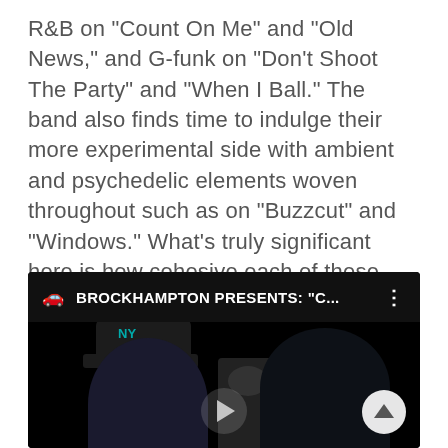R&B on "Count On Me" and "Old News," and G-funk on "Don't Shoot The Party" and "When I Ball." The band also finds time to indulge their more experimental side with ambient and psychedelic elements woven throughout such as on "Buzzcut" and "Windows." What's truly significant here is how cohesive each of these elements is together, allowing each track to feel multi-faceted and well-rounded in execution and impact.
[Figure (screenshot): A YouTube/video player screenshot showing a dark bar at top with a car icon, bold title text 'BROCKHAMPTON PRESENTS: "C...' and a three-dot menu icon. Below is a dark video scene showing people including someone wearing a NY Yankees cap with teal logo, a microphone, and another person on the right side smiling. A scroll-up circular button appears bottom right.]